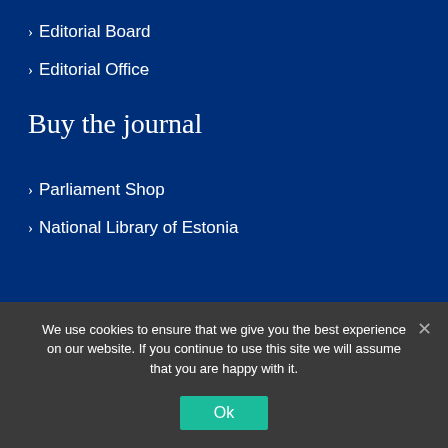> Editorial Board
> Editorial Office
Buy the journal
> Parliament Shop
> National Library of Estonia
Annual subscription
14€
We use cookies to ensure that we give you the best experience on our website. If you continue to use this site we will assume that you are happy with it.
Ok